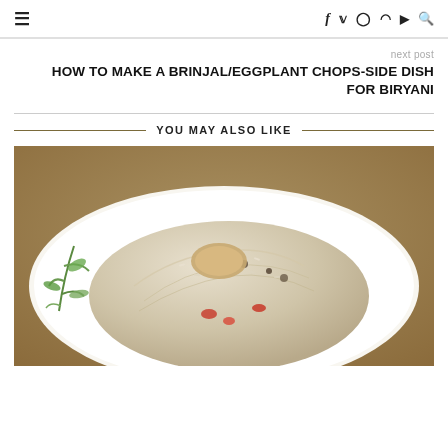≡  f  🐦  📷   Pinterest  ▶  🔍
next post
HOW TO MAKE A BRINJAL/EGGPLANT CHOPS-SIDE DISH FOR BIRYANI
YOU MAY ALSO LIKE
[Figure (photo): A mound of biryani rice on a white plate, garnished with green herbs and red tomato pieces, on a wooden surface.]